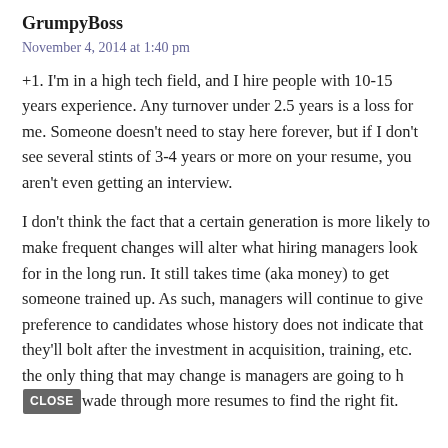GrumpyBoss
November 4, 2014 at 1:40 pm
+1. I'm in a high tech field, and I hire people with 10-15 years experience. Any turnover under 2.5 years is a loss for me. Someone doesn't need to stay here forever, but if I don't see several stints of 3-4 years or more on your resume, you aren't even getting an interview.
I don't think the fact that a certain generation is more likely to make frequent changes will alter what hiring managers look for in the long run. It still takes time (aka money) to get someone trained up. As such, managers will continue to give preference to candidates whose history does not indicate that they'll bolt after the investment in acquisition, training, etc. the only thing that may change is managers are going to h[CLOSE]wade through more resumes to find the right fit.